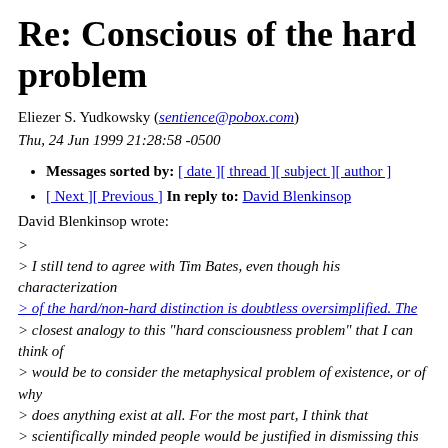Re: Conscious of the hard problem
Eliezer S. Yudkowsky (sentience@pobox.com)
Thu, 24 Jun 1999 21:28:58 -0500
Messages sorted by: [ date ][ thread ][ subject ][ author ]
[ Next ][ Previous ] In reply to: David Blenkinsop
David Blenkinsop wrote:
>
> I still tend to agree with Tim Bates, even though his characterization
> of the hard/non-hard distinction is doubtless oversimplified. The
> closest analogy to this "hard consciousness problem" that I can think of
> would be to consider the metaphysical problem of existence, or of why
> does anything exist at all. For the most part, I think that
> scientifically minded people would be justified in dismissing this old
> existential chestnut -- after all, the world *does* exist, so let's